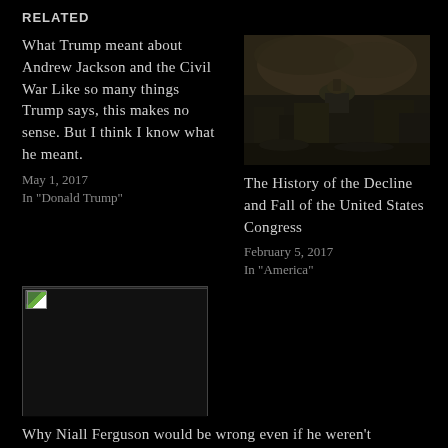RELATED
What Trump meant about Andrew Jackson and the Civil War Like so many things Trump says, this makes no sense. But I think I know what he meant.
May 1, 2017
In "Donald Trump"
[Figure (photo): Dark post-apocalyptic cityscape with Capitol building dome in background under stormy sky]
The History of the Decline and Fall of the United States Congress
February 5, 2017
In "America"
[Figure (photo): Broken/missing image placeholder with small icon]
Why Niall Ferguson would be wrong even if he weren't deceiving people.
August 26, 2012